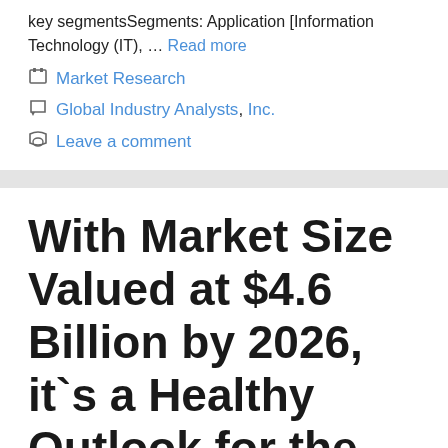key segmentsSegments: Application [Information Technology (IT), … Read more
Market Research
Global Industry Analysts, Inc.
Leave a comment
With Market Size Valued at $4.6 Billion by 2026, it`s a Healthy Outlook for the Global Aerial